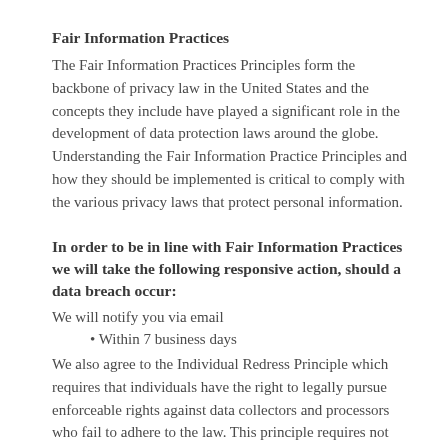Fair Information Practices
The Fair Information Practices Principles form the backbone of privacy law in the United States and the concepts they include have played a significant role in the development of data protection laws around the globe. Understanding the Fair Information Practice Principles and how they should be implemented is critical to comply with the various privacy laws that protect personal information.
In order to be in line with Fair Information Practices we will take the following responsive action, should a data breach occur:
We will notify you via email
Within 7 business days
We also agree to the Individual Redress Principle which requires that individuals have the right to legally pursue enforceable rights against data collectors and processors who fail to adhere to the law. This principle requires not